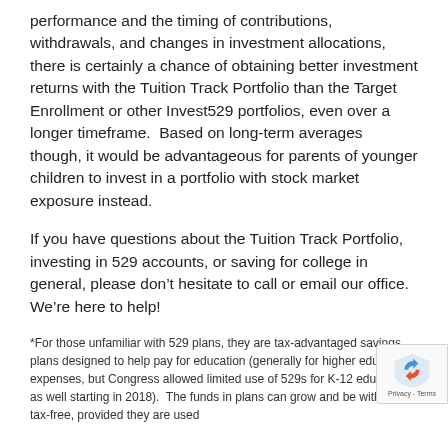performance and the timing of contributions, withdrawals, and changes in investment allocations, there is certainly a chance of obtaining better investment returns with the Tuition Track Portfolio than the Target Enrollment or other Invest529 portfolios, even over a longer timeframe.  Based on long-term averages though, it would be advantageous for parents of younger children to invest in a portfolio with stock market exposure instead.
If you have questions about the Tuition Track Portfolio, investing in 529 accounts, or saving for college in general, please don't hesitate to call or email our office.  We're here to help!
*For those unfamiliar with 529 plans, they are tax-advantaged savings plans designed to help pay for education (generally for higher education expenses, but Congress allowed limited use of 529s for K-12 education as well starting in 2018).  The funds in plans can grow and be withdrawn tax-free, provided they are used